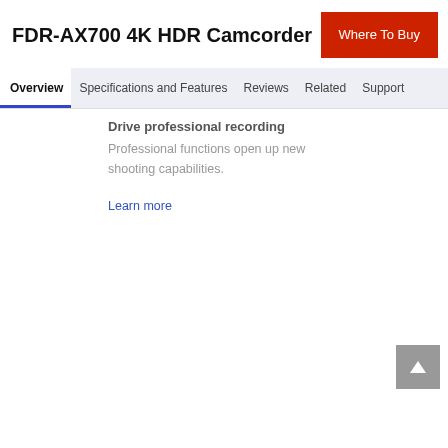FDR-AX700 4K HDR Camcorder
Where To Buy
Overview | Specifications and Features | Reviews | Related | Support
Drive professional recording
Professional functions open up new shooting capabilities.
Learn more